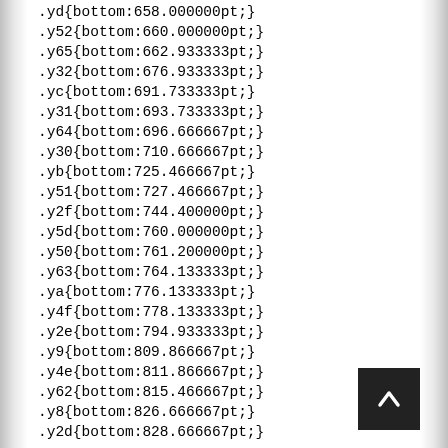.yd{bottom:658.000000pt;}
.y52{bottom:660.000000pt;}
.y65{bottom:662.933333pt;}
.y32{bottom:676.933333pt;}
.yc{bottom:691.733333pt;}
.y31{bottom:693.733333pt;}
.y64{bottom:696.666667pt;}
.y30{bottom:710.666667pt;}
.yb{bottom:725.466667pt;}
.y51{bottom:727.466667pt;}
.y2f{bottom:744.400000pt;}
.y5d{bottom:760.000000pt;}
.y50{bottom:761.200000pt;}
.y63{bottom:764.133333pt;}
.ya{bottom:776.133333pt;}
.y4f{bottom:778.133333pt;}
.y2e{bottom:794.933333pt;}
.y9{bottom:809.866667pt;}
.y4e{bottom:811.866667pt;}
.y62{bottom:815.466667pt;}
.y8{bottom:826.666667pt;}
.y2d{bottom:828.666667pt;}